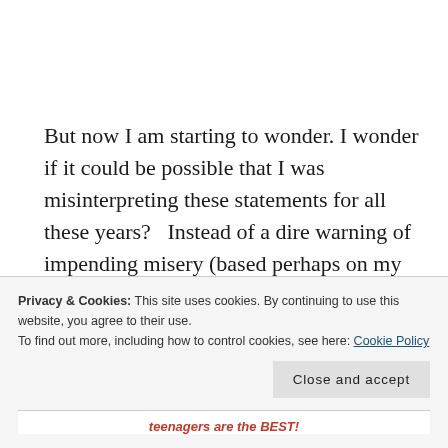But now I am starting to wonder. I wonder if it could be possible that I was misinterpreting these statements for all these years?   Instead of a dire warning of impending misery (based perhaps on my then-existent sleep deprived misery coupled with a tired, old societal cliche), is it possible that what they actually were trying
Privacy & Cookies: This site uses cookies. By continuing to use this website, you agree to their use.
To find out more, including how to control cookies, see here: Cookie Policy
[Close and accept]
teenagers are the BEST!